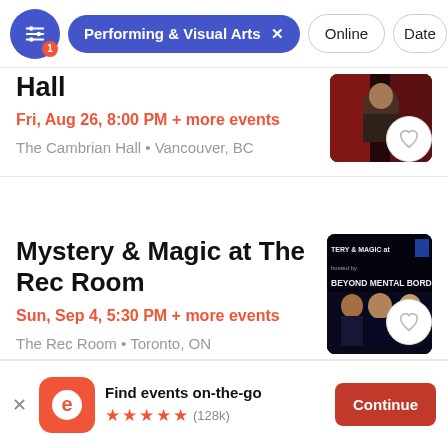Performing & Visual Arts  Online  Date
Hall
Fri, Aug 26, 8:00 PM + more events
The Cambrian Hall • Vancouver, BC
[Figure (photo): Event thumbnail showing a man performing on stage in front of red curtain]
Mystery & Magic at The Rec Room
Sun, Sep 4, 5:30 PM + more events
The Rec Room • Toronto, ON
[Figure (photo): Event thumbnail showing 'TERY & MAGIC at BEYOND MENTAL BORDERS' with three performers]
Find events on-the-go  ★★★★★ (128k)  Continue